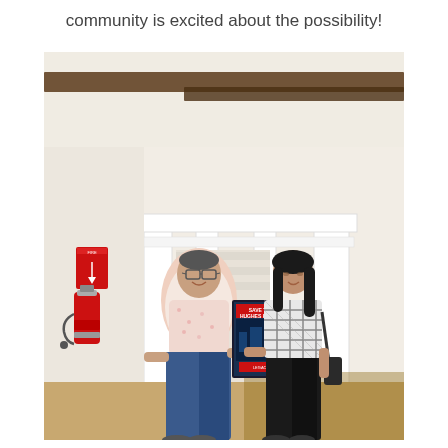community is excited about the possibility!
[Figure (photo): Two people standing indoors in front of a white brick fireplace mantel with exposed wooden ceiling beams. On the left, a man in a patterned short-sleeve shirt and blue jeans. On the right, a woman in a plaid blouse and black pants. They are shaking hands and holding a 'Save the Hughes House!' poster. A fire extinguisher is visible on the left wall.]